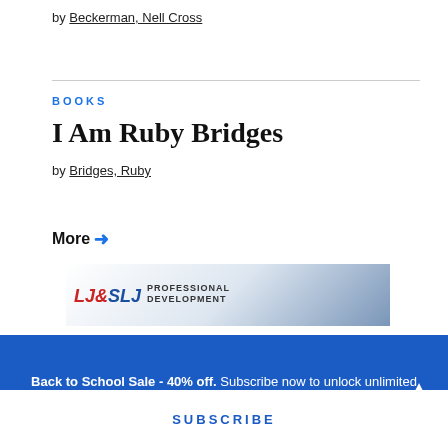by Beckerman, Nell Cross
BOOKS
I Am Ruby Bridges
by Bridges, Ruby
More →
[Figure (logo): LJ&SLJ Professional Development banner advertisement]
Back to School Sale - 40% off. Subscribe now to unlock unlimited access to our award-winning coverage.
SUBSCRIBE